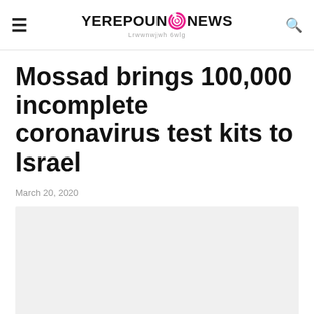YEREPOUNINEWS — Lrwwnwjwh 6wlg
Mossad brings 100,000 incomplete coronavirus test kits to Israel
March 20, 2020
[Figure (photo): Light grey placeholder image for article photo]